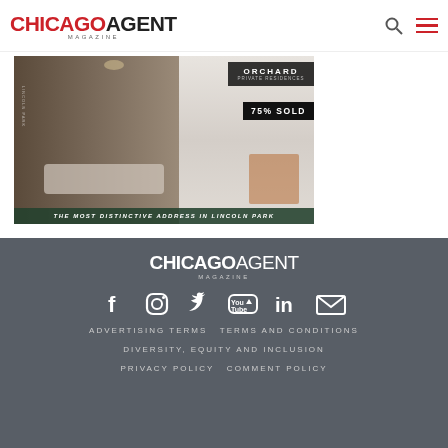[Figure (logo): Chicago Agent Magazine logo in header - CHICAGO in red, AGENT in dark gray, MAGAZINE below]
[Figure (photo): Orchard Private Residences advertisement showing luxury interior with text '75% SOLD' and 'THE MOST DISTINCTIVE ADDRESS IN LINCOLN PARK']
[Figure (logo): Chicago Agent Magazine white logo in footer]
[Figure (infographic): Social media icons: Facebook, Instagram, Twitter, YouTube, LinkedIn, Email]
ADVERTISING TERMS  TERMS AND CONDITIONS
DIVERSITY, EQUITY AND INCLUSION
PRIVACY POLICY  COMMENT POLICY